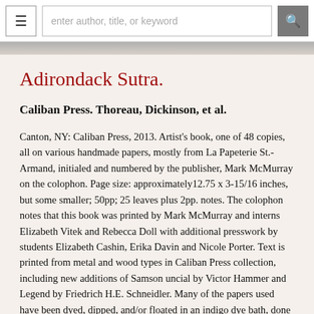enter author, title, or keyword
Adirondack Sutra.
Caliban Press. Thoreau, Dickinson, et al.
Canton, NY: Caliban Press, 2013. Artist's book, one of 48 copies, all on various handmade papers, mostly from La Papeterie St.-Armand, initialed and numbered by the publisher, Mark McMurray on the colophon. Page size: approximately12.75 x 3-15/16 inches, but some smaller; 50pp; 25 leaves plus 2pp. notes. The colophon notes that this book was printed by Mark McMurray and interns Elizabeth Vitek and Rebecca Doll with additional presswork by students Elizabeth Cashin, Erika Davin and Nicole Porter. Text is printed from metal and wood types in Caliban Press collection, including new additions of Samson uncial by Victor Hammer and Legend by Friedrich H.E. Schneidler. Many of the papers used have been dyed, dipped, and/or floated in an indigo dye bath, done with the assistance of Velma Bolyard. Additional support for this project came from St. Lawrence University "Crossing Boundaries: Re-envisioning the Humanities for the 21st Century" generously funded by the Andrew W. Mellon Foundation. Additional enthusiastic support was received from